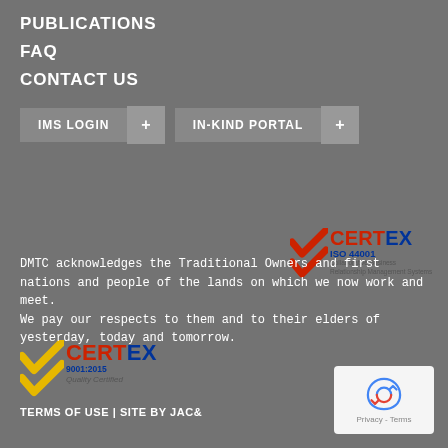PUBLICATIONS
FAQ
CONTACT US
IMS LOGIN +   IN-KIND PORTAL +
[Figure (logo): CERTEX ISO 44001 Collaborative Business Relationship Management Systems logo with red checkmarks]
[Figure (logo): CERTEX 9001:2015 Quality Certified logo with yellow checkmarks]
DMTC acknowledges the Traditional Owners and first nations and people of the lands on which we now work and meet.
We pay our respects to them and to their elders of yesterday, today and tomorrow.
TERMS OF USE | SITE BY JAC&
[Figure (logo): reCAPTCHA Privacy - Terms badge]